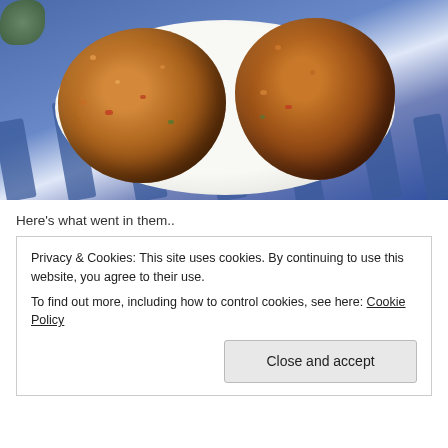[Figure (photo): Two golden-brown fried fish or crab cakes on a white plate with blue striped cloth/placemat underneath. A small green salad visible in top left corner.]
Here’s what went in them..
Privacy & Cookies: This site uses cookies. By continuing to use this website, you agree to their use.
To find out more, including how to control cookies, see here: Cookie Policy
Close and accept